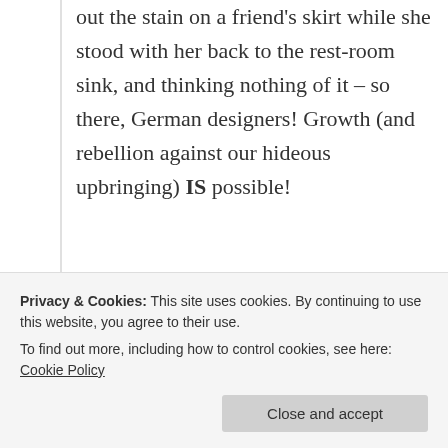out the stain on a friend's skirt while she stood with her back to the rest-room sink, and thinking nothing of it – so there, German designers! Growth (and rebellion against our hideous upbringing) IS possible!
★ Like
↪ Reply
Privacy & Cookies: This site uses cookies. By continuing to use this website, you agree to their use.
To find out more, including how to control cookies, see here: Cookie Policy
Close and accept